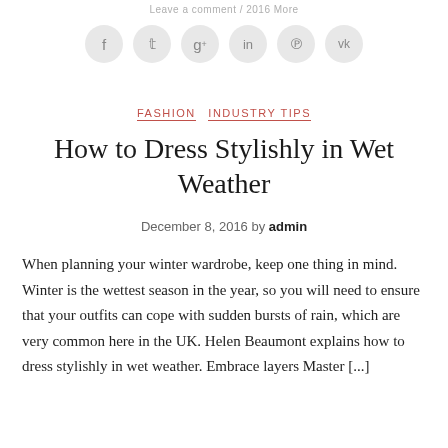Leave a comment / 2016 More
[Figure (infographic): Row of six circular social media icon buttons: f (Facebook), Twitter bird, g+ (Google+), in (LinkedIn), Pinterest, VK]
FASHION   INDUSTRY TIPS
How to Dress Stylishly in Wet Weather
December 8, 2016 by admin
When planning your winter wardrobe, keep one thing in mind. Winter is the wettest season in the year, so you will need to ensure that your outfits can cope with sudden bursts of rain, which are very common here in the UK. Helen Beaumont explains how to dress stylishly in wet weather. Embrace layers Master [...]